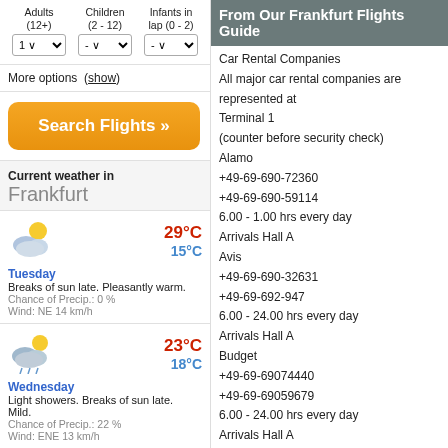Adults (12+) - Children (2 - 12) - Infants in lap (0 - 2) - dropdowns: 1, -, -
More options (show)
Search Flights »
Current weather in Frankfurt
29°C 15°C Tuesday Breaks of sun late. Pleasantly warm. Chance of Precip.: 0 % Wind: NE 14 km/h
23°C 18°C Wednesday Light showers. Breaks of sun late. Mild. Chance of Precip.: 22 % Wind: ENE 13 km/h
From Our Frankfurt Flights Guide
Car Rental Companies
All major car rental companies are represented at Terminal 1
(counter before security check)
Alamo
+49-69-690-72360
+49-69-690-59114
6.00 - 1.00 hrs every day
Arrivals Hall A
Avis
+49-69-690-32631
+49-69-692-947
6.00 - 24.00 hrs every day
Arrivals Hall A
Budget
+49-69-69074440
+49-69-69059679
6.00 - 24.00 hrs every day
Arrivals Hall A
Europcar
+49-69-697-97112
+49-69-697-97110
6.00 - 0.30 hrs every day